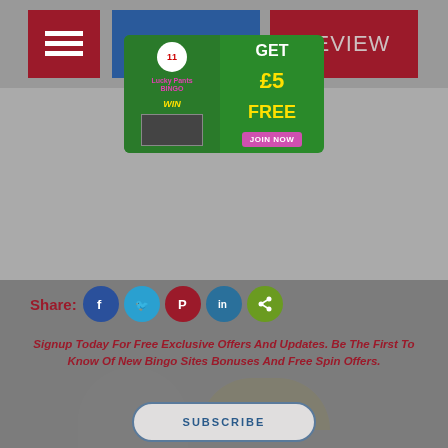[Figure (screenshot): Navigation bar with menu button (hamburger icon), PLAY button in blue, and REVIEW button in dark red]
[Figure (illustration): Lucky Pants Bingo advertisement banner: green background, logo with number 11, 'GET £5 FREE' in yellow text, WIN text, game screenshot, JOIN NOW pink button]
Share:
[Figure (infographic): Social share icons: Facebook (blue), Twitter (light blue), Pinterest (red), LinkedIn (dark blue), Share (green)]
Signup Today For Free Exclusive Offers And Updates. Be The First To Know Of New Bingo Sites Bonuses And Free Spin Offers.
SUBSCRIBE